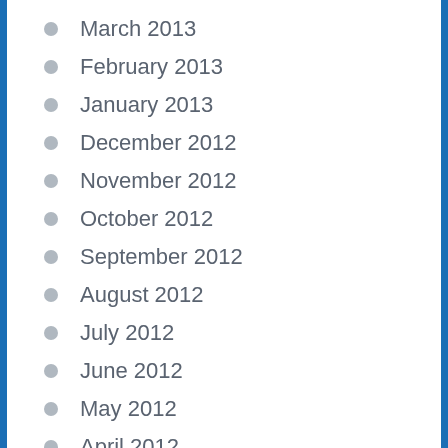March 2013
February 2013
January 2013
December 2012
November 2012
October 2012
September 2012
August 2012
July 2012
June 2012
May 2012
April 2012
March 2012
January 2012